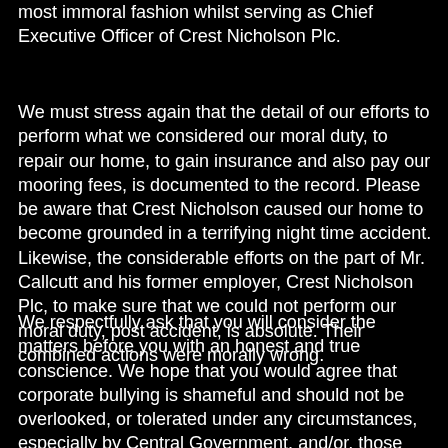most immoral fashion whilst serving as Chief Executive Officer of Crest Nicholson Plc.
We must stress again that the detail of our efforts to perform what we considered our moral duty, to repair our home, to gain insurance and also pay our mooring fees, is documented to the record. Please be aware that Crest Nicholson caused our home to become grounded in a terrifying night time accident. Likewise, the considerable efforts on the part of Mr. Callcutt and his former employer, Crest Nicholson Plc, to make sure that we could not perform our moral duty, post accident, is absolute. Their combined actions were morally wrong.
We respectfully ask that you will consider the matters before you with an honest and true conscience. We hope that you would agree that corporate bullying is shameful and should not be overlooked, or tolerated under any circumstances, especially by Central Government, and/or, those appointed by same.